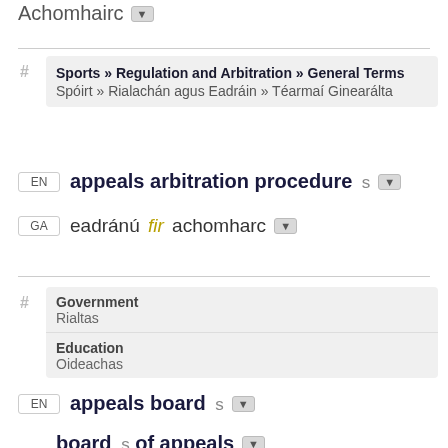Achomhairc ▼
Sports » Regulation and Arbitration » General Terms / Spóirt » Rialachán agus Eadráin » Téarmaí Ginearálta
EN appeals arbitration procedure s ▼
GA eadránú fir achomharc ▼
Government / Rialtas
Education / Oideachas
EN appeals board s ▼
board s of appeals ▼